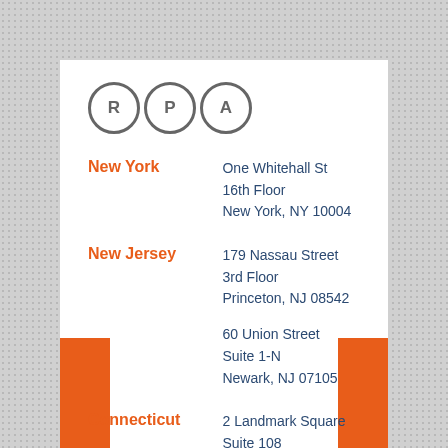[Figure (logo): RPA logo — three circles each containing the letters R, P, A in dark gray]
New York
One Whitehall St
16th Floor
New York, NY 10004
New Jersey
179 Nassau Street
3rd Floor
Princeton, NJ 08542

60 Union Street
Suite 1-N
Newark, NJ 07105
Connecticut
2 Landmark Square
Suite 108
Stamford, CT 06901